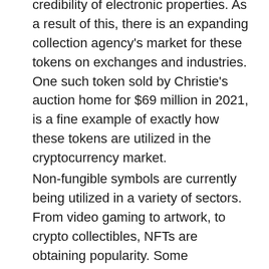credibility of electronic properties. As a result of this, there is an expanding collection agency's market for these tokens on exchanges and industries. One such token sold by Christie's auction home for $69 million in 2021, is a fine example of exactly how these tokens are utilized in the cryptocurrency market.
Non-fungible symbols are currently being utilized in a variety of sectors. From video gaming to artwork, to crypto collectibles, NFTs are obtaining popularity. Some recognizable brand names are accrediting their web content for NFTs. The dream soccer game Sorare subscribed 100 football clubs to mint non-fungible tokens. In a similar way, Minecraft as well as the BBC's Medical